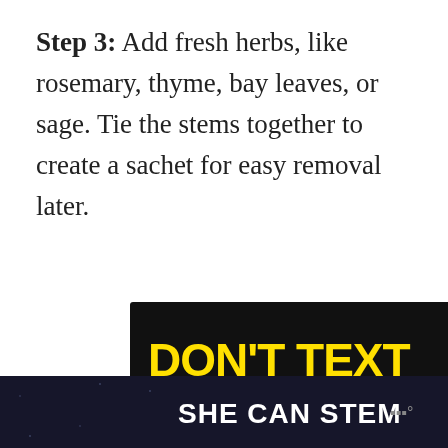Step 3: Add fresh herbs, like rosemary, thyme, bay leaves, or sage. Tie the stems together to create a sachet for easy removal later.
[Figure (screenshot): Advertisement banner with black background showing 'DON'T TEXT AND' in yellow and cyan text with a red car emoji and NHTSA logo. Has an X close button in the top right and an 'ad' label.]
[Figure (infographic): Teal circular button with a white heart icon (Save/favorite button)]
[Figure (infographic): White circular button with a share icon]
[Figure (screenshot): What's Next card showing a food image thumbnail and text 'Super Easy Crock Pot...' with an arrow label 'WHAT'S NEXT →']
SHE CAN STEM